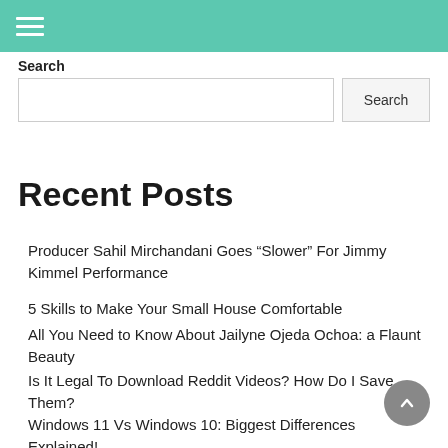Search
Producer Sahil Mirchandani Goes “Slower” For Jimmy Kimmel Performance
5 Skills to Make Your Small House Comfortable
All You Need to Know About Jailyne Ojeda Ochoa: a Flaunt Beauty
Is It Legal To Download Reddit Videos? How Do I Save Them?
Windows 11 Vs Windows 10: Biggest Differences Explained!